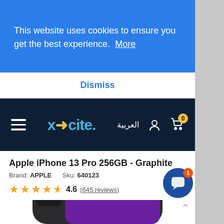This website uses cookies to ensure you get the best experience. More
Dismiss
[Figure (logo): X-cite logo in the navigation bar]
Apple iPhone 13 Pro 256GB - Graphite
Brand: APPLE   Sku: 640123
4.6  (645 reviews)
Click & Collect Available
[Figure (photo): Apple iPhone 13 Pro in Graphite color, showing the back camera and front screen]